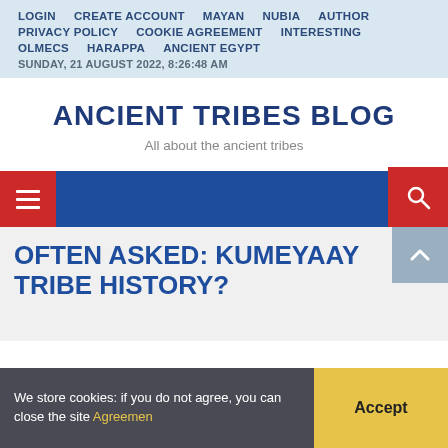LOGIN  CREATE ACCOUNT  MAYAN  NUBIA  AUTHOR  PRIVACY POLICY  COOKIE AGREEMENT  INTERESTING  OLMECS  HARAPPA  ANCIENT EGYPT
SUNDAY, 21 AUGUST 2022, 8:26:48 AM
ANCIENT TRIBES BLOG
All about the ancient tribes
OFTEN ASKED: KUMEYAAY TRIBE HISTORY?
We store cookies: if you do not agree, you can close the site Agreemen